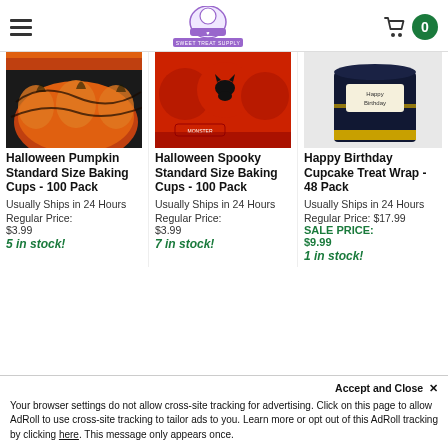Sweet Treat Supply - navigation bar with hamburger menu, logo, and cart showing 0 items
[Figure (photo): Halloween Pumpkin baking cup product image - orange and black pumpkin design]
Halloween Pumpkin Standard Size Baking Cups - 100 Pack
Usually Ships in 24 Hours
Regular Price: $3.99
5 in stock!
[Figure (photo): Halloween Spooky baking cup product image - red cups with black cat design]
Halloween Spooky Standard Size Baking Cups - 100 Pack
Usually Ships in 24 Hours
Regular Price: $3.99
7 in stock!
[Figure (photo): Happy Birthday Cupcake Treat Wrap product image - black and gold design]
Happy Birthday Cupcake Treat Wrap - 48 Pack
Usually Ships in 24 Hours
Regular Price: $17.99
SALE PRICE: $9.99
1 in stock!
Your browser settings do not allow cross-site tracking for advertising. Click on this page to allow AdRoll to use cross-site tracking to tailor ads to you. Learn more or opt out of this AdRoll tracking by clicking here. This message only appears once.